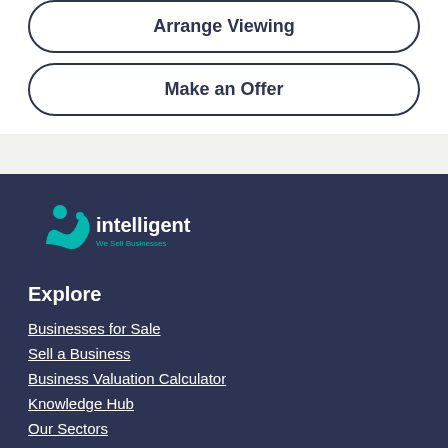Arrange Viewing
Make an Offer
[Figure (logo): Intelligent – We Sell Businesses logo with teal icon]
Explore
Businesses for Sale
Sell a Business
Business Valuation Calculator
Knowledge Hub
Our Sectors
About Us